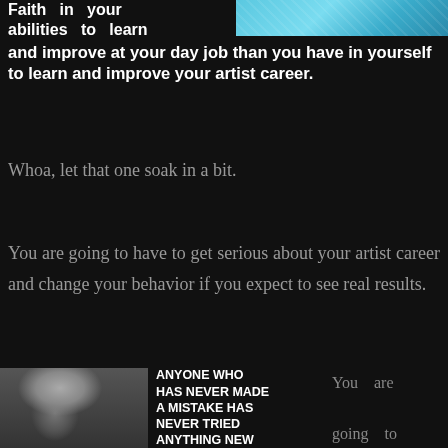Faith in your abilities to learn and improve at your day job than you have in yourself to learn and improve your artist career.
[Figure (photo): Partial image at top right, showing a blue/teal textured surface, cropped]
Whoa, let that one soak in a bit.
You are going to have to get serious about your artist career and change your behavior if you expect to see real results.
[Figure (photo): Black and white photo of an elderly man (resembling Einstein) on the left side, with a motivational quote overlay reading: ANYONE WHO HAS NEVER MADE A MISTAKE HAS NEVER TRIED ANYTHING NEW. On the right side, partial text: You are going to]